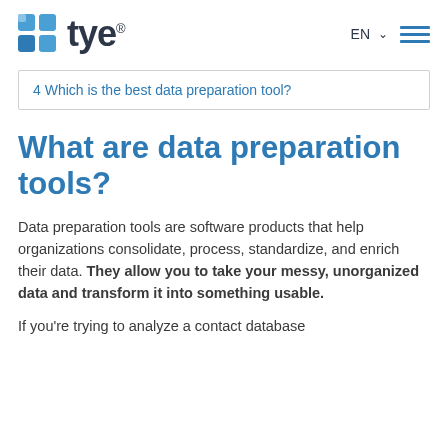tye® EN ☰
4 Which is the best data preparation tool?
What are data preparation tools?
Data preparation tools are software products that help organizations consolidate, process, standardize, and enrich their data. They allow you to take your messy, unorganized data and transform it into something usable.
If you're trying to analyze a contact database